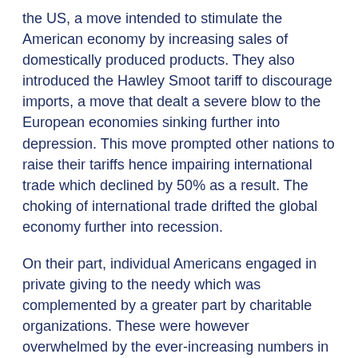the US, a move intended to stimulate the American economy by increasing sales of domestically produced products. They also introduced the Hawley Smoot tariff to discourage imports, a move that dealt a severe blow to the European economies sinking further into depression. This move prompted other nations to raise their tariffs hence impairing international trade which declined by 50% as a result. The choking of international trade drifted the global economy further into recession.
On their part, individual Americans engaged in private giving to the needy which was complemented by a greater part by charitable organizations. These were however overwhelmed by the ever-increasing numbers in need of relief by 1932. Already engulfed in deep economic woes, Americans responded by electing Hoover out of power replacing him with Franklin Roosevelt in 1932. Roosevelt was elected in the hope of reversing the effects of the great depression a task he was later to measure up to through his determination of recovery from